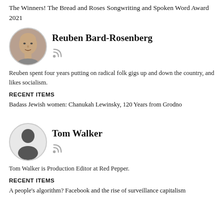The Winners! The Bread and Roses Songwriting and Spoken Word Award 2021
[Figure (photo): Circular profile photo of Reuben Bard-Rosenberg, a man with a shaved head.]
Reuben Bard-Rosenberg
Reuben spent four years putting on radical folk gigs up and down the country, and likes socialism.
RECENT ITEMS
Badass Jewish women: Chanukah Lewinsky, 120 Years from Grodno
[Figure (photo): Circular placeholder silhouette avatar for Tom Walker.]
Tom Walker
Tom Walker is Production Editor at Red Pepper.
RECENT ITEMS
A people's algorithm? Facebook and the rise of surveillance capitalism